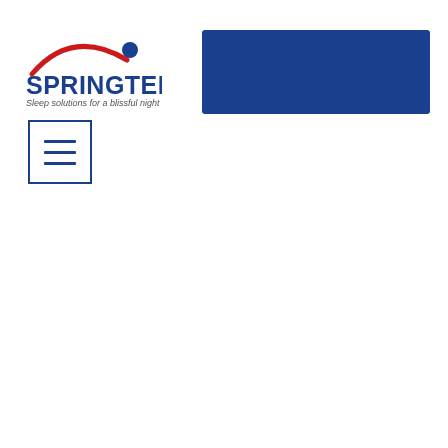[Figure (logo): Springtek logo with red arc and blue circle above text reading SPRINGTEK and tagline Sleep solutions for a blissful night]
[Figure (other): Solid dark blue rectangle banner in the upper right area of the page]
[Figure (other): Hamburger menu icon (three horizontal lines) inside a blue-bordered square box]